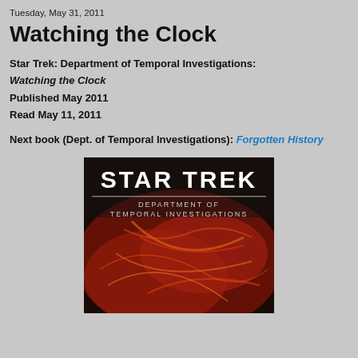Tuesday, May 31, 2011
Watching the Clock
Star Trek: Department of Temporal Investigations: Watching the Clock
Published May 2011
Read May 11, 2011
Next book (Dept. of Temporal Investigations): Forgotten History
[Figure (photo): Book cover for Star Trek: Department of Temporal Investigations - Watching the Clock. Shows the Star Trek logo at top in white text, with 'DEPARTMENT OF TEMPORAL INVESTIGATIONS' in smaller white text below, and a dark red/orange abstract swirling energy/nebula background.]